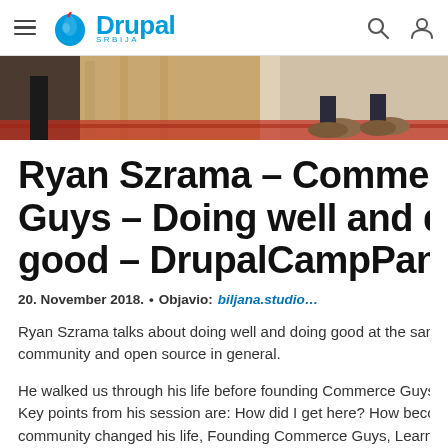Drupal Srbija
[Figure (photo): Partial photo showing a person's feet/legs at a podium or stage, with a red carpet visible]
Ryan Szrama – Commerce Guys – Doing well and doing good – DrupalCampPan…
20. November 2018.  •  Objavio: biljana.studio…
Ryan Szrama talks about doing well and doing good at the same time with his community and open source in general.
He walked us through his life before founding Commerce Guys up to… Key points from his session are: How did I get here? How becoming a community changed his life, Founding Commerce Guys, Learning to…